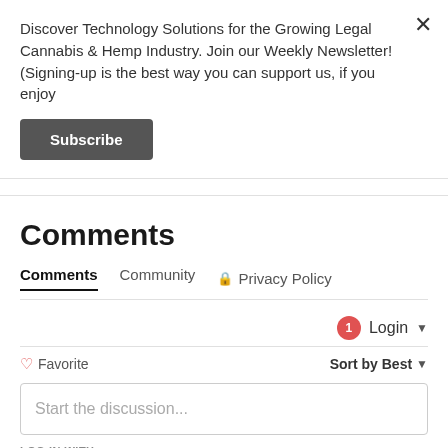Discover Technology Solutions for the Growing Legal Cannabis & Hemp Industry. Join our Weekly Newsletter! (Signing-up is the best way you can support us, if you enjoy
Subscribe
Comments
Comments   Community   🔒 Privacy Policy
1   Login ▾
♡ Favorite   Sort by Best ▾
Start the discussion...
LOG IN WITH